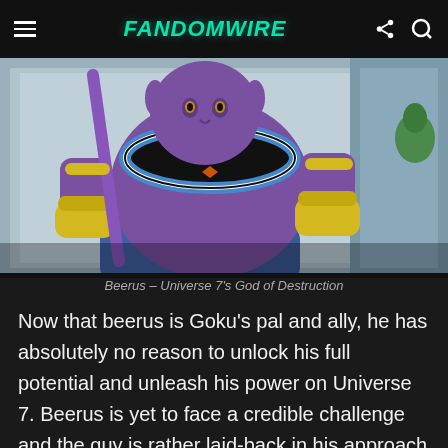FandomWire
[Figure (illustration): Beerus, Universe 7's God of Destruction from Dragon Ball Super – a large purple muscular cat-like deity wearing a black, blue, and white striped collar/necklace with yellow armguards, sitting in a posed position]
Beerus – Universe 7's God of Destruction
Now that beerus is Goku's pal and ally, he has absolutely no reason to unlock his full potential and unleash his power on Universe 7. Beerus is yet to face a credible challenge and the guy is rather laid-back in his approach to things. Back then, he only awoke because he found a worthy challenger in Goku. Now Goku is his friend. Why would he go all